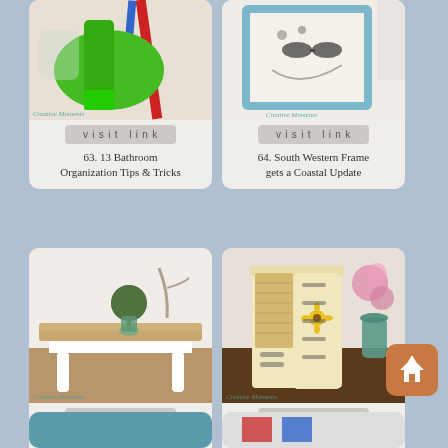[Figure (photo): Photo of green dustpan and brush cleaning supplies with blue and red handles]
visit link
63. 13 Bathroom Organization Tips & Tricks
[Figure (photo): Photo of a framed wall-mounted jewelry/accessories organizer with a coastal update style]
visit link
64. South Western Frame gets a Coastal Update
[Figure (photo): Photo of a natural wood and white painted coffee table with small green topiary ball and vase]
visit link
65. Natural Wood & White Coffee Table
[Figure (photo): Photo of a cream painted jewelry armoire with sunflower decoupage and wicker panel detail, with pink flowers in background]
visit link
66. Sunflowers and Lemonade Jewelry
[Figure (photo): Partially visible photo at bottom left - teal/blue color visible]
[Figure (photo): Partially visible photo at bottom right - colorful items visible]